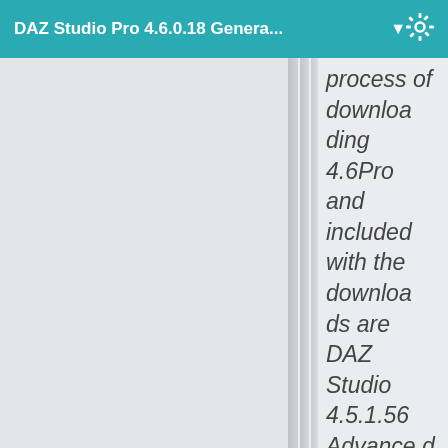DAZ Studio Pro 4.6.0.18 Genera...
process of downloading 4.6Pro and included with the downloads are DAZ Studio 4.5.1.56 Advanced (inactive) and